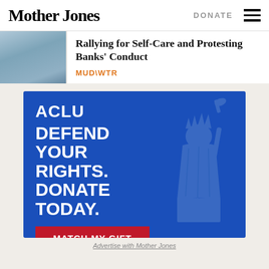Mother Jones | DONATE
Rallying for Self-Care and Protesting Banks' Conduct
MUD\WTR
[Figure (infographic): ACLU advertisement on blue background with Statue of Liberty silhouette. Text reads: ACLU, DEFEND YOUR RIGHTS. DONATE TODAY. Red button: MATCH MY GIFT]
Advertise with Mother Jones